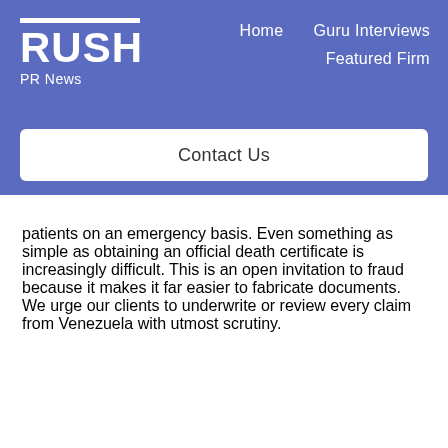RUSH PR News — Home | Guru Interviews | Featured Firm | Contact Us
patients on an emergency basis. Even something as simple as obtaining an official death certificate is increasingly difficult. This is an open invitation to fraud because it makes it far easier to fabricate documents. We urge our clients to underwrite or review every claim from Venezuela with utmost scrutiny.